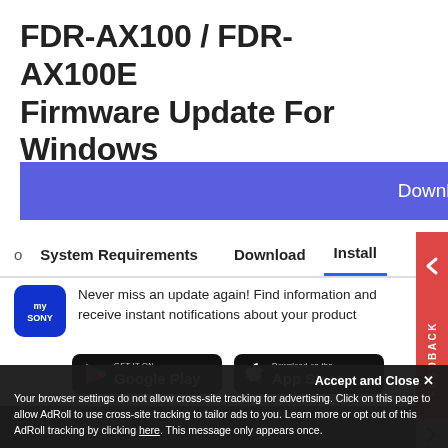FDR-AX100 / FDR-AX100E Firmware Update For Windows
Download
o   System Requirements   Download   Install
Never miss an update again! Find information and receive instant notifications about your product
[Figure (screenshot): Google Play store badge button (black background with Google Play logo and text 'GET IT ON Google Play')]
[Figure (screenshot): App Store badge button (black background with Apple logo and text 'Download on the App Store')]
Find a Store
Accept and Close ✕
Your browser settings do not allow cross-site tracking for advertising. Click on this page to allow AdRoll to use cross-site tracking to tailor ads to you. Learn more or opt out of this AdRoll tracking by clicking here. This message only appears once.